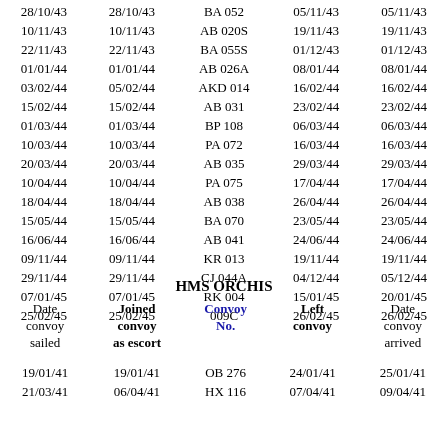| Date convoy sailed | Joined convoy as escort | Convoy No. | Left convoy | Date convoy arrived |
| --- | --- | --- | --- | --- |
| 28/10/43 | 28/10/43 | BA 052 | 05/11/43 | 05/11/43 |
| 10/11/43 | 10/11/43 | AB 020S | 19/11/43 | 19/11/43 |
| 22/11/43 | 22/11/43 | BA 055S | 01/12/43 | 01/12/43 |
| 01/01/44 | 01/01/44 | AB 026A | 08/01/44 | 08/01/44 |
| 03/02/44 | 05/02/44 | AKD 014 | 16/02/44 | 16/02/44 |
| 15/02/44 | 15/02/44 | AB 031 | 23/02/44 | 23/02/44 |
| 01/03/44 | 01/03/44 | BP 108 | 06/03/44 | 06/03/44 |
| 10/03/44 | 10/03/44 | PA 072 | 16/03/44 | 16/03/44 |
| 20/03/44 | 20/03/44 | AB 035 | 29/03/44 | 29/03/44 |
| 10/04/44 | 10/04/44 | PA 075 | 17/04/44 | 17/04/44 |
| 18/04/44 | 18/04/44 | AB 038 | 26/04/44 | 26/04/44 |
| 15/05/44 | 15/05/44 | BA 070 | 23/05/44 | 23/05/44 |
| 16/06/44 | 16/06/44 | AB 041 | 24/06/44 | 24/06/44 |
| 09/11/44 | 09/11/44 | KR 013 | 19/11/44 | 19/11/44 |
| 29/11/44 | 29/11/44 | CJ 044A | 04/12/44 | 05/12/44 |
| 07/01/45 | 07/01/45 | RK 004 | 15/01/45 | 20/01/45 |
| 25/02/45 | 25/02/45 | 009C | 26/02/45 | 26/02/45 |
HMS ORCHIS
| Date convoy sailed | Joined convoy as escort | Convoy No. | Left convoy | Date convoy arrived |
| --- | --- | --- | --- | --- |
| 19/01/41 | 19/01/41 | OB 276 | 24/01/41 | 25/01/41 |
| 21/03/41 | 06/04/41 | HX 116 | 07/04/41 | 09/04/41 |